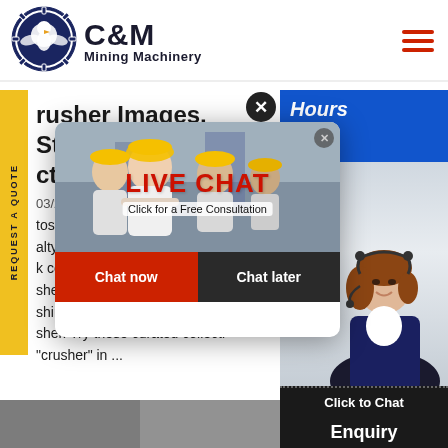[Figure (logo): C&M Mining Machinery logo with eagle/gear emblem in navy blue, bold text 'C&M' and 'Mining Machinery']
Crusher Images, Stock Photos & Vectors | Shutterstock
03/2021·
atos, vec... alty-fre... k conveyor silhouette of mining... sher cement mining crusher pla... shing industry mining crusher m... sher. Try these curated collecti... "crusher" in ...
[Figure (screenshot): Live Chat popup overlay showing construction workers in hard hats, 'LIVE CHAT' text in red, 'Click for a Free Consultation' text, 'Chat now' red button and 'Chat later' dark button]
[Figure (screenshot): Right side chat panel showing '24 Hours Online' banner in blue with red text, female customer service agent with headset, 'Click to Chat' button, and 'Enquiry' label at bottom]